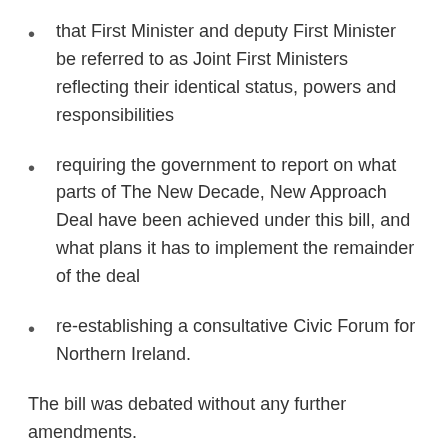that First Minister and deputy First Minister be referred to as Joint First Ministers reflecting their identical status, powers and responsibilities
requiring the government to report on what parts of The New Decade, New Approach Deal have been achieved under this bill, and what plans it has to implement the remainder of the deal
re-establishing a consultative Civic Forum for Northern Ireland.
The bill was debated without any further amendments.